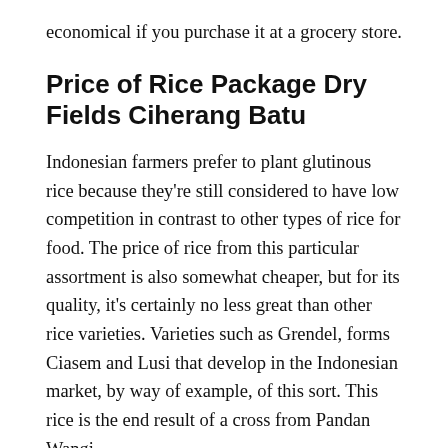economical if you purchase it at a grocery store.
Price of Rice Package Dry Fields Ciherang Batu
Indonesian farmers prefer to plant glutinous rice because they're still considered to have low competition in contrast to other types of rice for food. The price of rice from this particular assortment is also somewhat cheaper, but for its quality, it's certainly no less great than other rice varieties. Varieties such as Grendel, forms Ciasem and Lusi that develop in the Indonesian market, by way of example, of this sort. This rice is the end result of a cross from Pandan Wangi